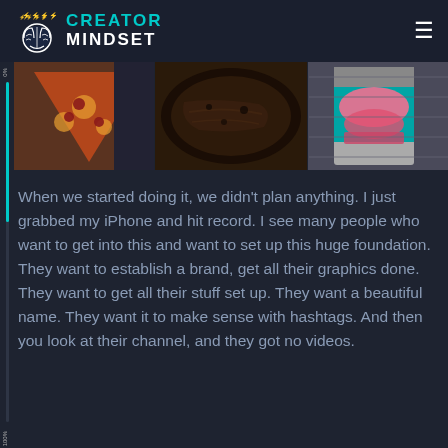CREATOR MINDSET
[Figure (photo): A horizontal strip of three food/product photos: a slice of pepperoni pizza, a large seared/smoked meat (brisket or roast), and a pink drink in a cup with teal branding.]
When we started doing it, we didn't plan anything. I just grabbed my iPhone and hit record. I see many people who want to get into this and want to set up this huge foundation. They want to establish a brand, get all their graphics done. They want to get all their stuff set up. They want a beautiful name. They want it to make sense with hashtags. And then you look at their channel, and they got no videos.